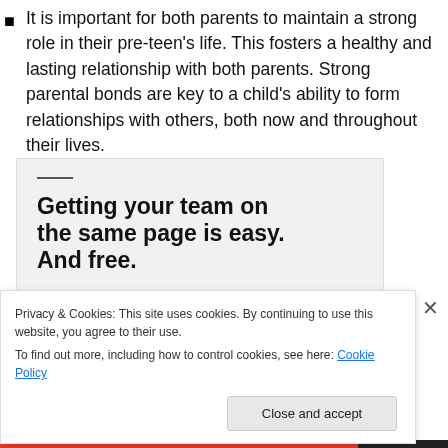It is important for both parents to maintain a strong role in their pre-teen's life. This fosters a healthy and lasting relationship with both parents. Strong parental bonds are key to a child's ability to form relationships with others, both now and throughout their lives.
[Figure (infographic): Advertisement box with gray background showing bold headline 'Getting your team on the same page is easy. And free.' with avatars of people at the bottom.]
Privacy & Cookies: This site uses cookies. By continuing to use this website, you agree to their use. To find out more, including how to control cookies, see here: Cookie Policy
Close and accept